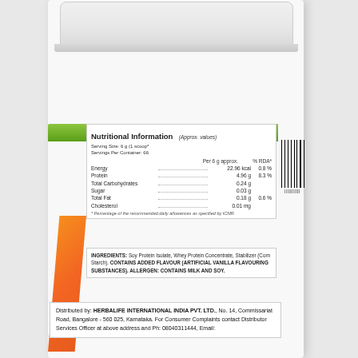[Figure (photo): Herbalife protein powder container, white cylindrical jar with lid, showing nutritional label and orange branding stripe on white background]
Nutritional Information (Approx. values)
Serving Size: 6 g (1 scoop)
Servings Per Container: 66
|  | Per 6 g approx. | % RDA* |
| --- | --- | --- |
| Energy | 22.96 kcal | 0.8 % |
| Protein | 4.96 g | 8.3 % |
| Total Carbohydrates | 0.24 g |  |
| Sugar | 0.03 g |  |
| Total Fat | 0.18 g | 0.6 % |
| Cholesterol | 0.01 mg |  |
* Percentage of the recommended daily allowances as specified by ICMR
INGREDIENTS: Soy Protein Isolate, Whey Protein Concentrate, Stabilizer (Corn Starch). CONTAINS ADDED FLAVOUR (ARTIFICIAL VANILLA FLAVOURING SUBSTANCES). ALLERGEN: CONTAINS MILK AND SOY.
Distributed by: HERBALIFE INTERNATIONAL INDIA PVT. LTD., No. 14, Commissariat Road, Bangalore - 560 025, Karnataka. For Consumer Complaints contact Distributor Services Officer at above address and Ph: 08040311444, Email:...